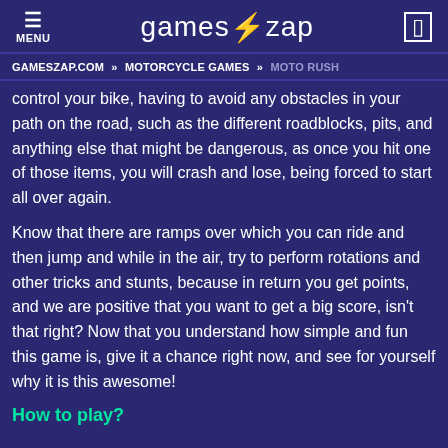MENU | gameszap | [icon]
GAMESZAP.COM » MOTORCYCLE GAMES » MOTO RUSH
control your bike, having to avoid any obstacles in your path on the road, such as the different roadblocks, pits, and anything else that might be dangerous, as once you hit one of those items, you will crash and lose, being forced to start all over again.
Know that there are ramps over which you can ride and then jump and while in the air, try to perform rotations and other tricks and stunts, because in return you get points, and we are positive that you want to get a big score, isn't that right? Now that you understand how simple and fun this game is, give it a chance right now, and see for yourself why it is this awesome!
How to play?